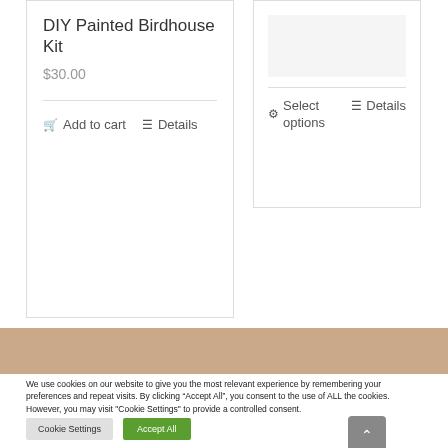DIY Painted Birdhouse Kit
$30.00
Add to cart   Details
Select options   Details
We use cookies on our website to give you the most relevant experience by remembering your preferences and repeat visits. By clicking “Accept All”, you consent to the use of ALL the cookies. However, you may visit "Cookie Settings" to provide a controlled consent.
Cookie Settings   Accept All